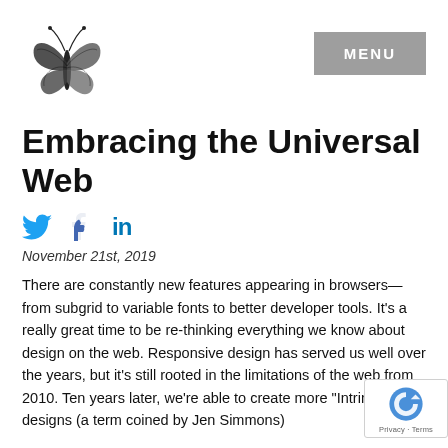[Figure (illustration): Black and white butterfly illustration in top left corner]
MENU
Embracing the Universal Web
[Figure (illustration): Social media icons: Twitter bird, Facebook thumbs up, LinkedIn 'in' logo]
November 21st, 2019
There are constantly new features appearing in browsers—from subgrid to variable fonts to better developer tools. It's a really great time to be re-thinking everything we know about design on the web. Responsive design has served us well over the years, but it's still rooted in the limitations of the web from 2010. Ten years later, we're able to create more "Intrinsic" designs (a term coined by Jen Simmons)
[Figure (logo): Google reCAPTCHA badge with Privacy and Terms links]